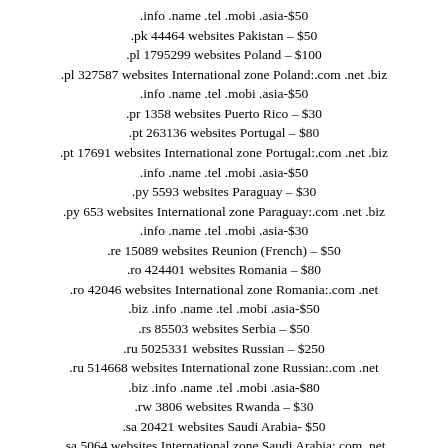.info .name .tel .mobi .asia-$50
.pk 44464 websites Pakistan – $50
.pl 1795299 websites Poland – $100
.pl 327587 websites International zone Poland:.com .net .biz .info .name .tel .mobi .asia-$50
.pr 1358 websites Puerto Rico – $30
.pt 263136 websites Portugal – $80
.pt 17691 websites International zone Portugal:.com .net .biz .info .name .tel .mobi .asia-$50
.py 5593 websites Paraguay – $30
.py 653 websites International zone Paraguay:.com .net .biz .info .name .tel .mobi .asia-$30
.re 15089 websites Reunion (French) – $50
.ro 424401 websites Romania – $80
.ro 42046 websites International zone Romania:.com .net .biz .info .name .tel .mobi .asia-$50
.rs 85503 websites Serbia – $50
.ru 5025331 websites Russian – $250
.ru 514668 websites International zone Russian:.com .net .biz .info .name .tel .mobi .asia-$80
.rw 3806 websites Rwanda – $30
.sa 20421 websites Saudi Arabia- $50
.sa 5064 websites International zone Saudi Arabia:.com .net .biz .info .name .tel .mobi .asia – $30
.sc 4442 websites Seychelles- $30